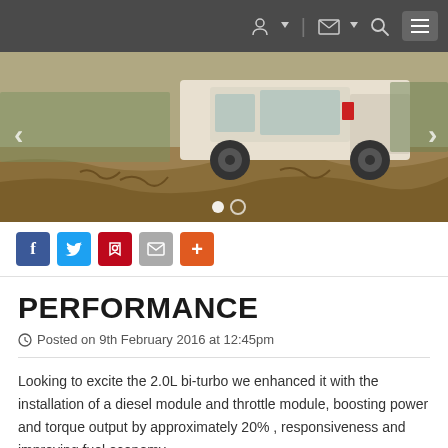Navigation bar with user, cart, search, and menu icons
[Figure (photo): A pickup truck driving through muddy off-road terrain with trees in the background. Navigation arrows on left and right, dot indicators at bottom.]
Social sharing buttons: Facebook, Twitter, Pinterest, Email, More
PERFORMANCE
Posted on 9th February 2016 at 12:45pm
Looking to excite the 2.0L bi-turbo we enhanced it with the installation of a diesel module and throttle module, boosting power and torque output by approximately 20% , responsiveness and improving fuel economy.
We topped off the performance modifications with a HPX turbo back 3"